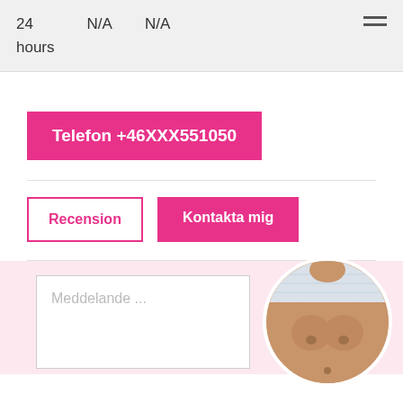24 hours   N/A   N/A
Telefon +46XXX551050
Recension
Kontakta mig
Meddelande ...
[Figure (photo): Circular cropped photo of a female torso]